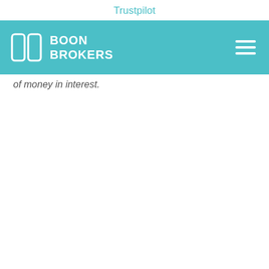Trustpilot
[Figure (logo): Boon Brokers logo and navigation bar with teal background, company logo mark, BOON BROKERS text, and hamburger menu icon]
of money in interest.